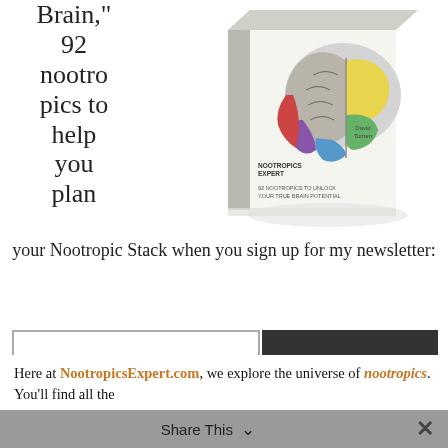Brain," 92 nootropics to help you plan
[Figure (illustration): A 3D book cover titled '92 Nootropics to Unlock Your True Brain Potential' by David Tomen, featuring a colorful brain image on the cover. Published by Nootropics Expert.]
your Nootropic Stack when you sign up for my newsletter:
Enter your Email
Get The Book!
Here at NootropicsExpert.com, we explore the universe of nootropics. You'll find all the
Share This